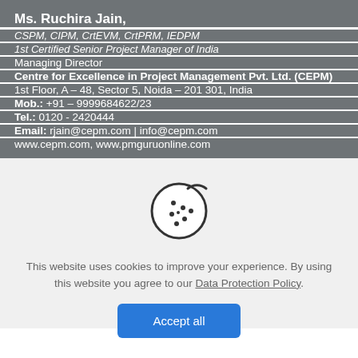Ms. Ruchira Jain,
CSPM, CIPM, CrtEVM, CrtPRM, IEDPM
1st Certified Senior Project Manager of India
Managing Director
Centre for Excellence in Project Management Pvt. Ltd. (CEPM)
1st Floor, A – 48, Sector 5, Noida – 201 301, India
Mob.: +91 – 9999684622/23
Tel.: 0120 - 2420444
Email: rjain@cepm.com | info@cepm.com
www.cepm.com, www.pmguruonline.com
[Figure (illustration): Cookie icon — a round cookie with a bite taken out of the top-right, with dots representing chocolate chips]
This website uses cookies to improve your experience. By using this website you agree to our Data Protection Policy.
Accept all